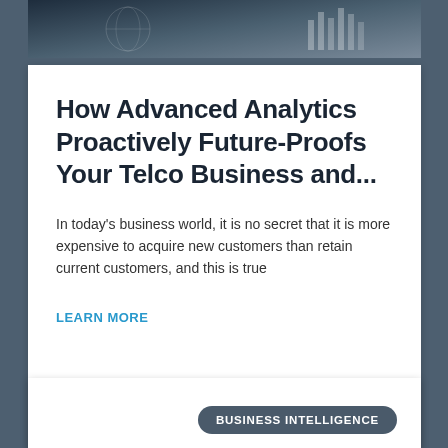[Figure (photo): Dark header image showing business analytics charts and world map overlay]
How Advanced Analytics Proactively Future-Proofs Your Telco Business and...
In today’s business world, it is no secret that it is more expensive to acquire new customers than retain current customers, and this is true
LEARN MORE
Agnieszka Perrin  |  11 July 2022
BUSINESS INTELLIGENCE